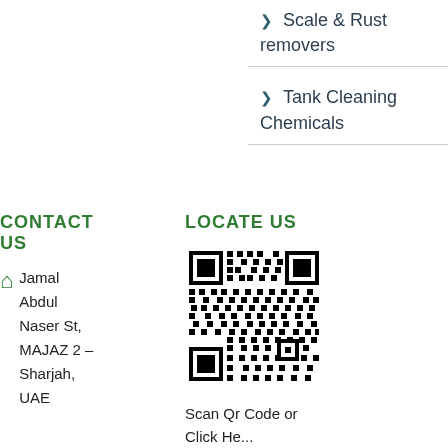Scale & Rust removers
Tank Cleaning Chemicals
CONTACT US
LOCATE US
Jamal Abdul Naser St, MAJAZ 2 – Sharjah, UAE
[Figure (other): QR code for location]
Scan Qr Code or Click He...